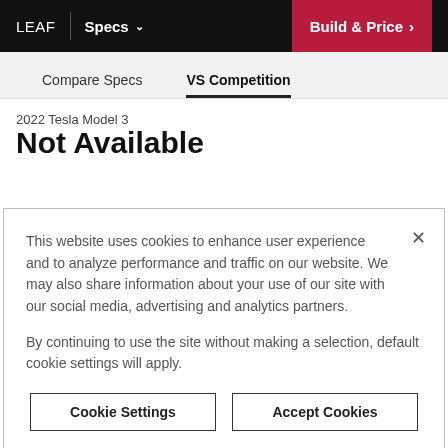LEAF | Specs ∨ | Build & Price >
Compare Specs | VS Competition
2022 Tesla Model 3
Not Available
This website uses cookies to enhance user experience and to analyze performance and traffic on our website. We may also share information about your use of our site with our social media, advertising and analytics partners.

By continuing to use the site without making a selection, default cookie settings will apply.
Cookie Settings | Accept Cookies